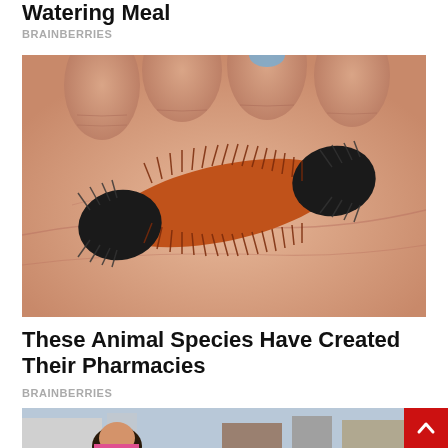Watering Meal
BRAINBERRIES
[Figure (photo): Close-up photo of a woolly bear caterpillar with black and orange-red banded fur resting on a human hand palm]
These Animal Species Have Created Their Pharmacies
BRAINBERRIES
[Figure (photo): Photo of a young woman with dark hair in a ponytail wearing a pink top, eyes closed, with a city rooftop skyline in the background]